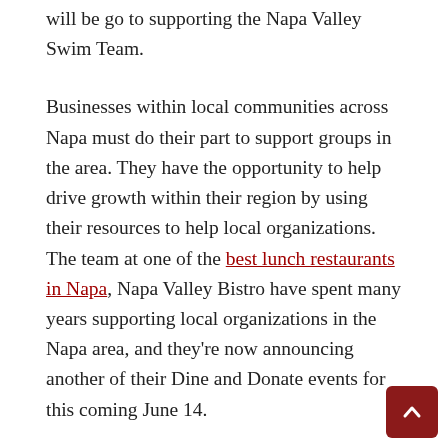will be go to supporting the Napa Valley Swim Team.
Businesses within local communities across Napa must do their part to support groups in the area. They have the opportunity to help drive growth within their region by using their resources to help local organizations. The team at one of the best lunch restaurants in Napa, Napa Valley Bistro have spent many years supporting local organizations in the Napa area, and they're now announcing another of their Dine and Donate events for this coming June 14.
As part of the June 14 event, 15% of all business sales will be donated directly to the Napa Valley Swim Team organization. The Napa Valley Swim Team organization works with swimmers of all ages to help them develop their understanding of swimming and move on to greater levels of proficiency. The organization offers year-round coaching and professional instruction for all types of swimmer. And now local diners at